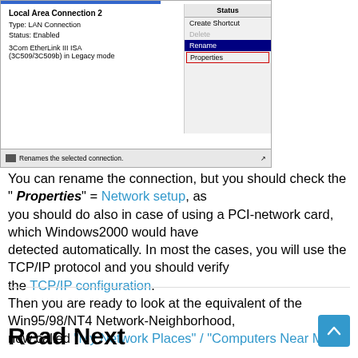[Figure (screenshot): Windows 2000 Network Connections window showing 'Local Area Connection 2' with Type: LAN Connection, Status: Enabled, 3Com EtherLink III ISA (3C509/3C509b) in Legacy mode. Right-click context menu visible with options: Status, Create Shortcut, Delete, Rename (highlighted in blue), Properties (with red border). Status bar at bottom reads 'Renames the selected connection.']
You can rename the connection, but you should check the " Properties" = Network setup, as you should do also in case of using a PCI-network card, which Windows2000 would have detected automatically. In most the cases, you will use the TCP/IP protocol and you should verify the TCP/IP configuration. Then you are ready to look at the equivalent of the Win95/98/NT4 Network-Neighborhood, now called "My Network Places" / "Computers Near Me".
Read Next